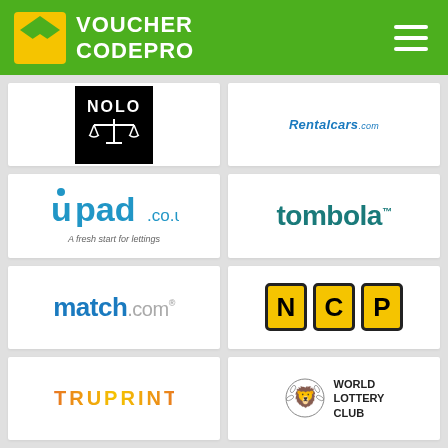VOUCHER CODEPRO
[Figure (logo): NOLO legal publisher logo — white text on black background with scales of justice icon]
[Figure (logo): Rentalcars.com logo in blue italic text]
[Figure (logo): upad.co.uk logo — A fresh start for lettings]
[Figure (logo): tombola logo in teal]
[Figure (logo): match.com logo in blue]
[Figure (logo): NCP logo — black letters on yellow squares with black border]
[Figure (logo): TRUPRINT logo in orange/yellow gradient letters]
[Figure (logo): World Lottery Club logo with lion crest and laurel wreath]